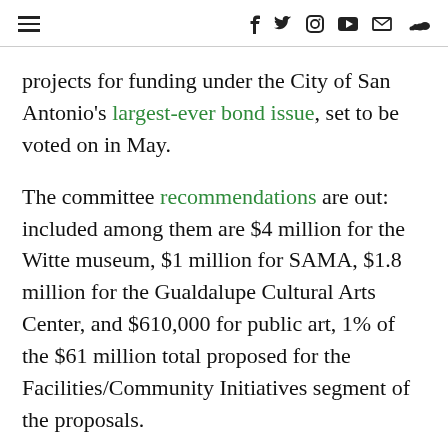≡  f  𝕏  ⊙  ▶  ✉  ♫
projects for funding under the City of San Antonio's largest-ever bond issue, set to be voted on in May.
The committee recommendations are out: included among them are $4 million for the Witte museum, $1 million for SAMA, $1.8 million for the Gualdalupe Cultural Arts Center, and $610,000 for public art, 1% of the $61 million total proposed for the Facilities/Community Initiatives segment of the proposals.